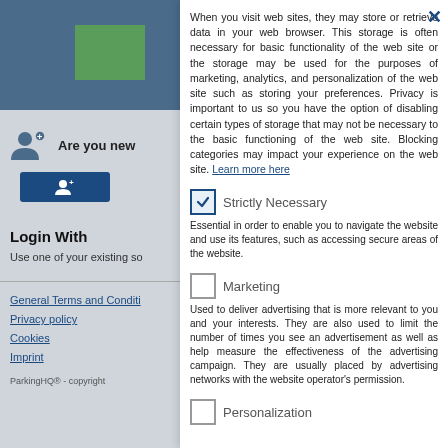[Figure (screenshot): Left panel of a website login page with blue header, green box, user avatar icon, 'Are you new' text, signup button, Login With section, social login prompt, and footer links]
When you visit web sites, they may store or retrieve data in your web browser. This storage is often necessary for basic functionality of the web site or the storage may be used for the purposes of marketing, analytics, and personalization of the web site such as storing your preferences. Privacy is important to us so you have the option of disabling certain types of storage that may not be necessary to the basic functioning of the web site. Blocking categories may impact your experience on the web site. Learn more here
Strictly Necessary
Essential in order to enable you to navigate the website and use its features, such as accessing secure areas of the website.
Marketing
Used to deliver advertising that is more relevant to you and your interests. They are also used to limit the number of times you see an advertisement as well as help measure the effectiveness of the advertising campaign. They are usually placed by advertising networks with the website operator's permission.
Personalization